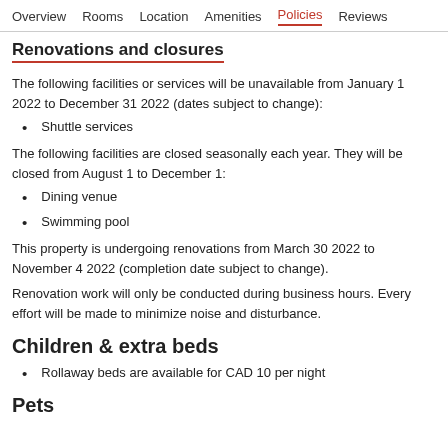Overview  Rooms  Location  Amenities  Policies  Reviews
Renovations and closures
The following facilities or services will be unavailable from January 1 2022 to December 31 2022 (dates subject to change):
Shuttle services
The following facilities are closed seasonally each year. They will be closed from August 1 to December 1:
Dining venue
Swimming pool
This property is undergoing renovations from March 30 2022 to November 4 2022 (completion date subject to change).
Renovation work will only be conducted during business hours. Every effort will be made to minimize noise and disturbance.
Children & extra beds
Rollaway beds are available for CAD 10 per night
Pets